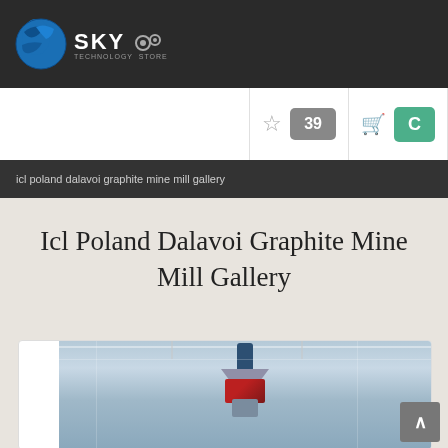SKY — logo header
☆  39  🛒  C
icl poland dalavoi graphite mine mill gallery
Icl Poland Dalavoi Graphite Mine Mill Gallery
[Figure (photo): Industrial milling or crane equipment suspended from a factory ceiling, blue cylindrical body with red and grey cone/bowl shapes, industrial warehouse background]